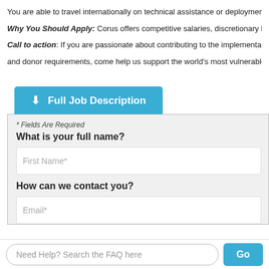You are able to travel internationally on technical assistance or deployments that may be
Why You Should Apply: Corus offers competitive salaries, discretionary bonuses, 100%
Call to action: If you are passionate about contributing to the implementation of technica and donor requirements, come help us support the world's most vulnerable people break
Full Job Description
* Fields Are Required
What is your full name?
First Name*
How can we contact you?
Email*
Need Help? Search the FAQ here